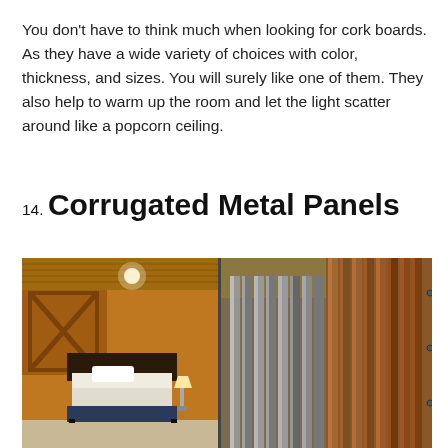You don't have to think much when looking for cork boards. As they have a wide variety of choices with color, thickness, and sizes. You will surely like one of them. They also help to warm up the room and let the light scatter around like a popcorn ceiling.
14. Corrugated Metal Panels
[Figure (photo): A split image showing a rustic bedroom on the left with warm wood tones, X-brace wall detail, a bed with white bedding and plaid bed skirt, and a lamp; on the right, a close-up of corrugated metal panels in silver and copper tones.]